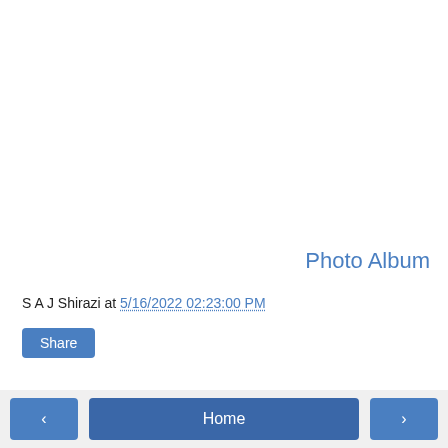Photo Album
S A J Shirazi at 5/16/2022 02:23:00 PM
Share
< Home >